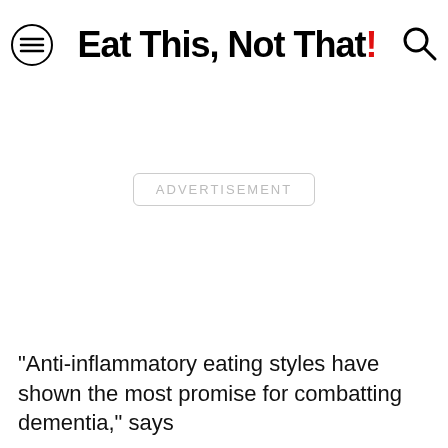Eat This, Not That!
[Figure (other): Advertisement placeholder area with 'ADVERTISEMENT' label in a rounded rectangle border]
"Anti-inflammatory eating styles have shown the most promise for combatting dementia," says